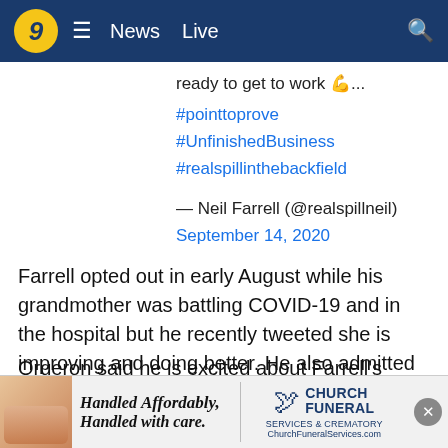9  ≡  News  Live
ready to get to work 💪...
#pointtoprove
#UnfinishedBusiness
#realspillinthebackfield

— Neil Farrell (@realspillneil)
September 14, 2020
Farrell opted out in early August while his grandmother was battling COVID-19 and in the hospital but he recently tweeted she is improving and doing better. He also admitted he has missed football.
Orgeron said he is excited about Farrell's return. He added the team met and decided it wanted him back, so he was welco... legitima... way back a...
[Figure (other): Advertisement banner: 'Handled Affordably, Handled with care.' with Church Funeral Services & Crematory logo and ChurchFuneralServices.com]